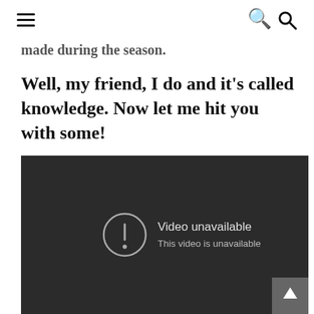[hamburger menu] [search icon]
made during the season.
Well, my friend, I do and it's called knowledge. Now let me hit you with some!
[Figure (screenshot): Embedded video player showing 'Video unavailable - This video is unavailable' error message on a dark background]